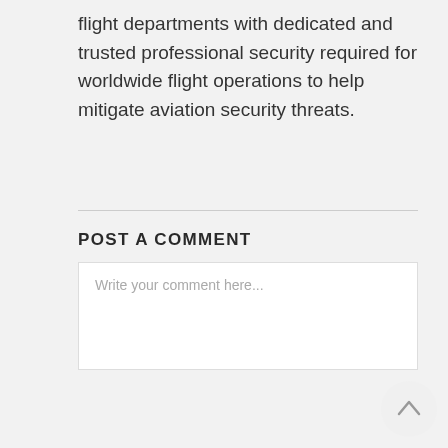flight departments with dedicated and trusted professional security required for worldwide flight operations to help mitigate aviation security threats.
POST A COMMENT
Write your comment here...